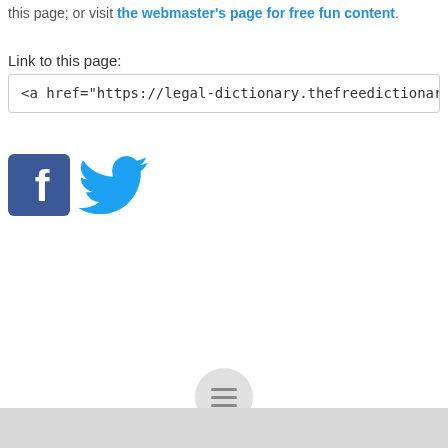this page; or visit the webmaster's page for free fun content.
Link to this page:
<a href="https://legal-dictionary.thefreedictionary.com/vend">Vendition</a
[Figure (logo): Facebook logo icon (blue square with white F)]
[Figure (logo): Twitter logo icon (blue bird)]